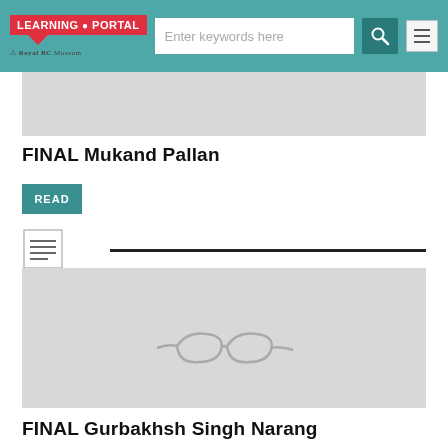LEARNING PORTAL - Royal BC Museum | Enter keywords here
[Figure (photo): Partial image placeholder (gray rectangle, top of first article)]
FINAL Mukand Pallan
READ
[Figure (illustration): List/document icon with horizontal lines]
[Figure (photo): Gray image placeholder showing glasses silhouette, for FINAL Gurbakhsh Singh Narang article]
FINAL Gurbakhsh Singh Narang
READ